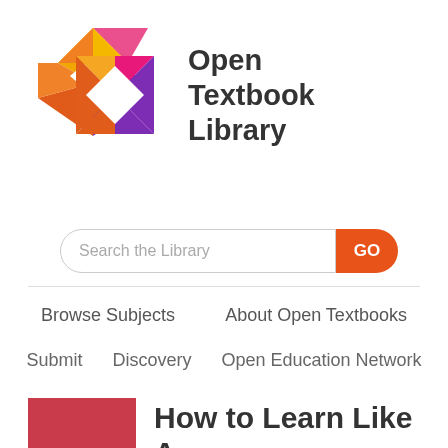[Figure (logo): Open Textbook Library logo: geometric diamond shape made of colored facets (orange, pink/magenta, purple, dark orange) next to bold text 'Open Textbook Library']
Search the Library
GO
Browse Subjects
About Open Textbooks
Submit
Discovery
Open Education Network
[Figure (photo): Red/crimson book cover thumbnail]
How to Learn Like A Pro